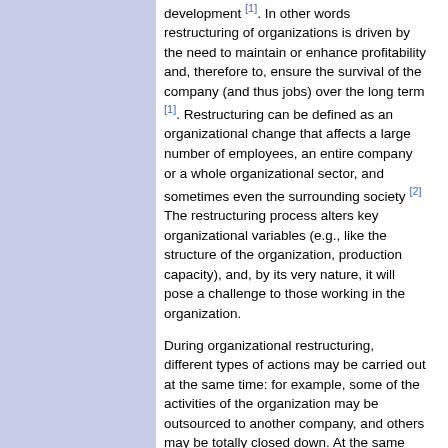development [1]. In other words restructuring of organizations is driven by the need to maintain or enhance profitability and, therefore to, ensure the survival of the company (and thus jobs) over the long term [1]. Restructuring can be defined as an organizational change that affects a large number of employees, an entire company or a whole organizational sector, and sometimes even the surrounding society [2] The restructuring process alters key organizational variables (e.g., like the structure of the organization, production capacity), and, by its very nature, it will pose a challenge to those working in the organization.
During organizational restructuring, different types of actions may be carried out at the same time: for example, some of the activities of the organization may be outsourced to another company, and others may be totally closed down. At the same time, expansions may also be carried out